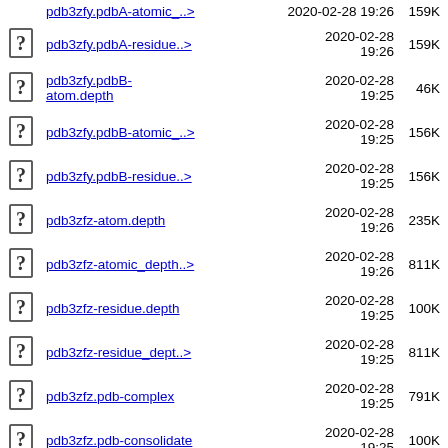pdb3zfy.pdbA-atomic_..> 2020-02-28 19:26 159K
pdb3zfy.pdbA-residue..> 2020-02-28 19:26 159K
pdb3zfy.pdbB-atom.depth 2020-02-28 19:25 46K
pdb3zfy.pdbB-atomic_..> 2020-02-28 19:25 156K
pdb3zfy.pdbB-residue..> 2020-02-28 19:25 156K
pdb3zfz-atom.depth 2020-02-28 19:26 235K
pdb3zfz-atomic_depth..> 2020-02-28 19:26 811K
pdb3zfz-residue.depth 2020-02-28 19:25 100K
pdb3zfz-residue_dept..> 2020-02-28 19:25 811K
pdb3zfz.pdb-complex 2020-02-28 19:25 791K
pdb3zfz.pdb-consolidate 2020-02-28 19:25 100K
pdb3zfz.pdbA-atom.depth 2020-02-28 19:25 116K